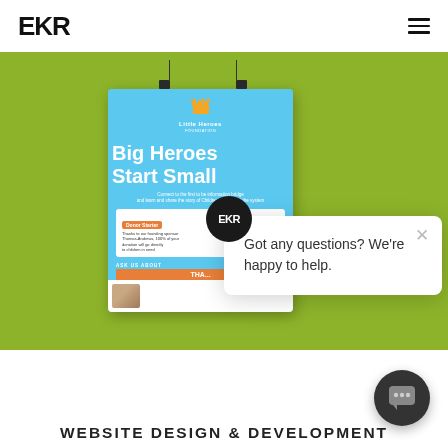EKR
[Figure (screenshot): A hanging poster for 'Little Heroes Foundation' with text 'Big Heroes Start Small' on a blue background, displayed against a green/olive background. The poster shows a donor quote box and charity seal.]
Got any questions? We're happy to help.
WEBSITE DESIGN & DEVELOPMENT